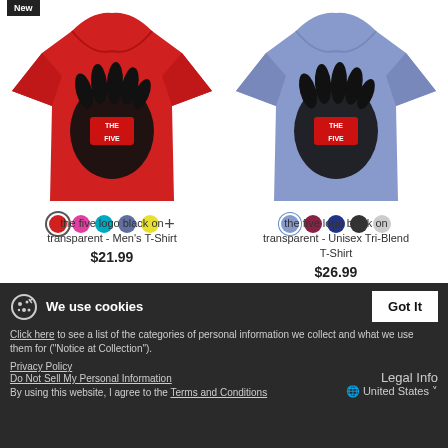[Figure (photo): Red men's t-shirt with 'The Five' hand logo black on transparent, with New badge]
[Figure (photo): Blue heather unisex tri-blend t-shirt with 'The Five' hand logo black on transparent]
the five logo black on transparent - Men's T-Shirt
$21.99
the five logo black on transparent - Unisex Tri-Blend T-Shirt
$26.99
We use cookies
Click here to see a list of the categories of personal information we collect and what we use them for ("Notice at Collection").
Privacy Policy
Do Not Sell My Personal Information
By using this website, I agree to the Terms and Conditions
Legal Info
United States ˅